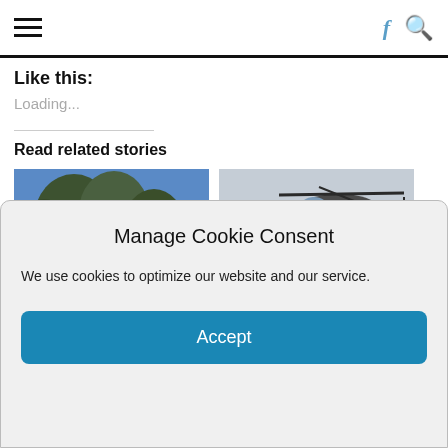Navigation bar with hamburger menu, Facebook icon, and search icon
Like this:
Loading...
Read related stories
[Figure (photo): Photo of trees with a ladder against one, blue sky background]
[Figure (photo): Photo of a military helicopter flying with three people watching from the ground]
Manage Cookie Consent
We use cookies to optimize our website and our service.
Accept